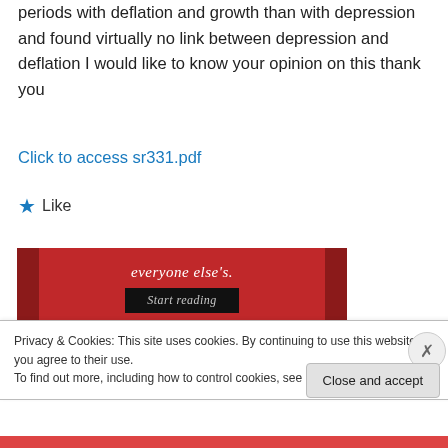periods with deflation and growth than with depression and found virtually no link between depression and deflation I would like to know your opinion on this thank you
Click to access sr331.pdf
Like
[Figure (other): Red advertisement banner with text 'everyone else's.' and a black 'Start reading' button]
Privacy & Cookies: This site uses cookies. By continuing to use this website, you agree to their use. To find out more, including how to control cookies, see here: Cookie Policy
Close and accept